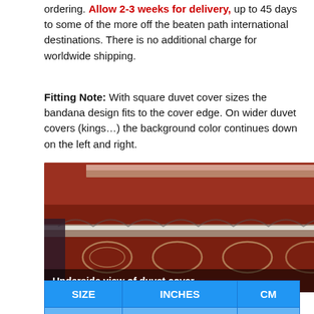ordering. Allow 2-3 weeks for delivery, up to 45 days to some of the more off the beaten path international destinations. There is no additional charge for worldwide shipping.
Fitting Note: With square duvet cover sizes the bandana design fits to the cover edge. On wider duvet covers (kings…) the background color continues down on the left and right.
[Figure (photo): Photo showing the underside view of a duvet cover with a dark red/maroon bandana-style fabric being held up. White decorative pattern visible. A bright red fabric piece is visible on the right. Caption at bottom reads 'Underside view of duvet cover'.]
| SIZE | INCHES | CM |
| --- | --- | --- |